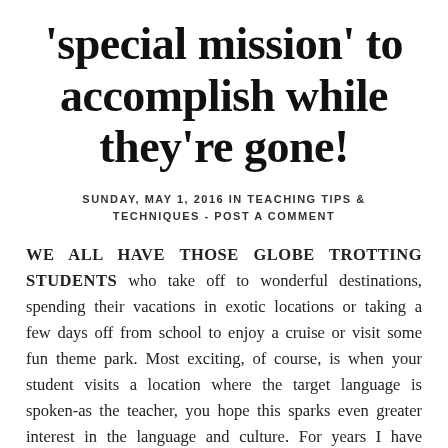'special mission' to accomplish while they're gone!
SUNDAY, MAY 1, 2016 IN TEACHING TIPS & TECHNIQUES - POST A COMMENT
WE ALL HAVE THOSE GLOBE TROTTING STUDENTS who take off to wonderful destinations, spending their vacations in exotic locations or taking a few days off from school to enjoy a cruise or visit some fun theme park. Most exciting, of course, is when your student visits a location where the target language is spoken-as the teacher, you hope this sparks even greater interest in the language and culture. For years I have congratulated my